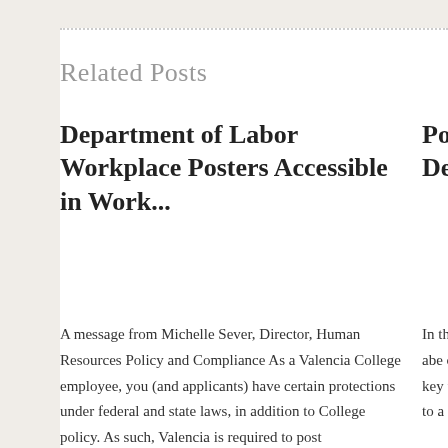Related Posts
Department of Labor Workplace Posters Accessible in Work...
Policy Upd... Dependent...
A message from Michelle Sever, Director, Human Resources Policy and Compliance As a Valencia College employee, you (and applicants) have certain protections under federal and state laws, in addition to College policy. As such, Valencia is required to post
In this Policy U... information abe or approved po abreast of key to provide you information to a